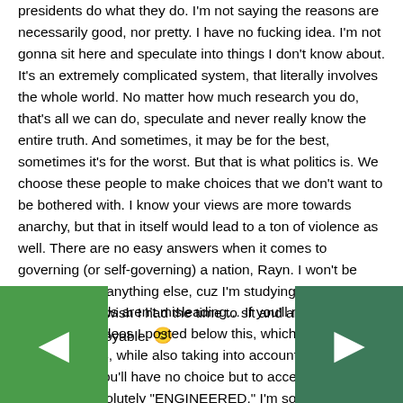presidents do what they do. I'm not saying the reasons are necessarily good, nor pretty. I have no fucking idea. I'm not gonna sit here and speculate into things I don't know about. It's an extremely complicated system, that literally involves the whole world. No matter how much research you do, that's all we can do, speculate and never really know the entire truth. And sometimes, it may be for the best, sometimes it's for the worst. But that is what politics is. We choose these people to make choices that we don't want to be bothered with. I know your views are more towards anarchy, but that in itself would lead to a ton of violence as well. There are no easy answers when it comes to governing (or self-governing) a nation, Rayn. I won't be responding to anything else, cuz I'm studying for a midterm, lol. I wish I had the time to sit and argue with you. It's always enjoyable. 🙂
Rayn: My words aren't misleading… If you'll read the other articles and videos I posted below this, which include insider memos, while also taking into account the original "Bank War," you'll have no choice but to accept that these things are absolutely "ENGINEERED." I'm sorry that have time to read it all, now, but I'm sure you can do so e of the next few months. There's really no rush to read g, now. And, understand that I'm merely doing my duty, human being, to share the information that has taken me many hours to